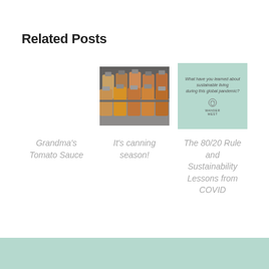Related Posts
[Figure (photo): No image for first post (Grandma's Tomato Sauce) — placeholder area]
Grandma's Tomato Sauce
[Figure (photo): Photo of canning jars filled with tomato sauce stacked in boxes]
It's canning season!
[Figure (infographic): Mint green card with text: What have you learned about sustainable living during this global pandemic? with a logo below]
The 80/20 Rule and Sustainability Lessons from COVID